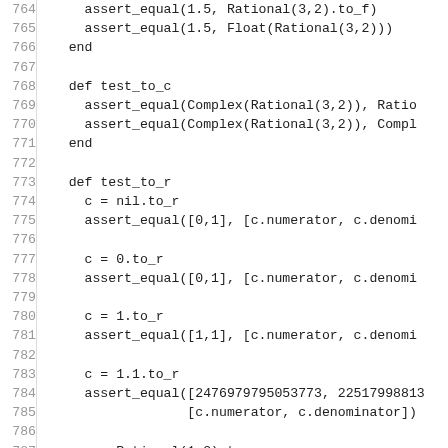Source code listing, lines 764-793, Ruby test methods including test_to_c, test_to_r with assert_equal and assert_raise statements.